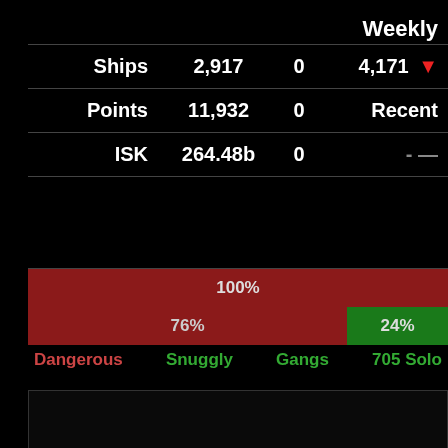Weekly
|  | Kills | Losses |  |
| --- | --- | --- | --- |
| Ships | 2,917 | 0 | 4,171 ↓ |
| Points | 11,932 | 0 | Recent |
| ISK | 264.48b | 0 | - — |
[Figure (infographic): Progress bar showing 100% red bar, then second row with 76% red and 24% green bar]
Dangerous   Snuggly  Gangs   705 Solo
[Figure (screenshot): Empty activity panel with hamburger menu button in bottom right]